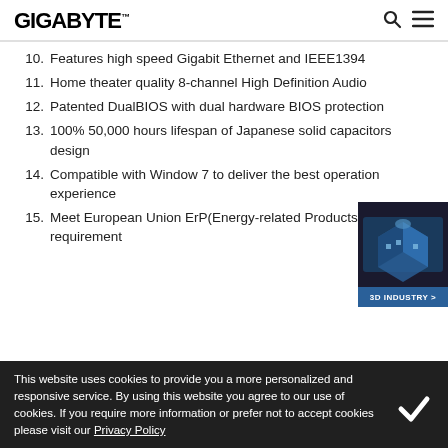GIGABYTE
10. Features high speed Gigabit Ethernet and IEEE1394
11. Home theater quality 8-channel High Definition Audio
12. Patented DualBIOS with dual hardware BIOS protection
13. 100% 50,000 hours lifespan of Japanese solid capacitors design
14. Compatible with Window 7 to deliver the best operation experience
15. Meet European Union ErP(Energy-related Products) requirement
[Figure (illustration): 3D Industry isometric illustration with blue building/factory graphic and '3D INDUSTRY >' button]
This website uses cookies to provide you a more personalized and responsive service. By using this website you agree to our use of cookies. If you require more information or prefer not to accept cookies please visit our Privacy Policy